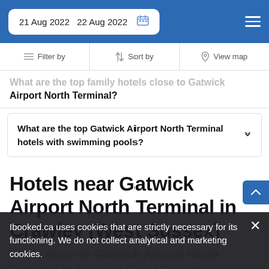21 Aug 2022  22 Aug 2022
Filter by  Sort by  View map
What are the top family hotels close to Gatwick Airport North Terminal?
What are the top Gatwick Airport North Terminal hotels with swimming pools?
Hotels near Gatwick Airport North Terminal in Crawley (West Sussex)
Hotels close to Gatwick Airport North Terminal in Crawley (West Sussex)
Ibooked.ca uses cookies that are strictly necessary for its functioning. We do not collect analytical and marketing cookies.